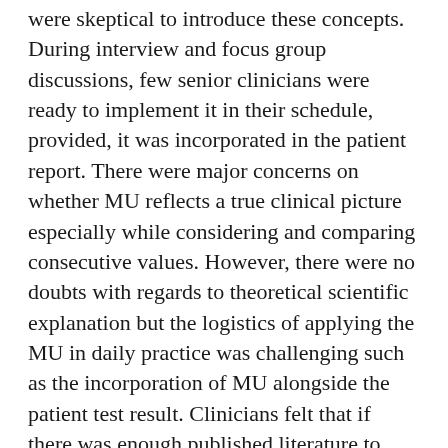were skeptical to introduce these concepts. During interview and focus group discussions, few senior clinicians were ready to implement it in their schedule, provided, it was incorporated in the patient report. There were major concerns on whether MU reflects a true clinical picture especially while considering and comparing consecutive values. However, there were no doubts with regards to theoretical scientific explanation but the logistics of applying the MU in daily practice was challenging such as the incorporation of MU alongside the patient test result. Clinicians felt that if there was enough published literature to prove that MU mirrors the clinical condition for monitoring consecutive values, it was useful in judging critical parameters and for parameters with narrow medical decision limit (MDL). When MDL was discussed as a guideline for decision-making, there was concern with its age-specific applicability. It was clearly indicated that MDL should not be included in the reports along